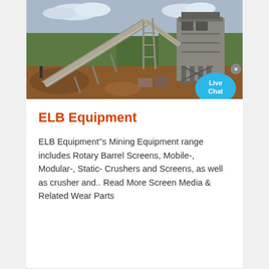[Figure (photo): Outdoor industrial mining/crushing plant with conveyor belts, steel framework, and a large crusher tower. Red/brown soil in foreground, green trees in background under cloudy sky.]
ELB Equipment
ELB Equipment''s Mining Equipment range includes Rotary Barrel Screens, Mobile-, Modular-, Static- Crushers and Screens, as well as crusher and.. Read More Screen Media & Related Wear Parts